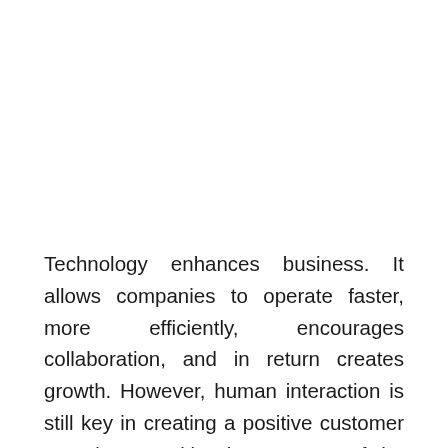Technology enhances business. It allows companies to operate faster, more efficiently, encourages collaboration, and in return creates growth. However, human interaction is still key in creating a positive customer experience. Taking into account of the last year, with companies forced to rapidly digitize, many business leaders have grappled with the challenge of keeping customer experiences with the...